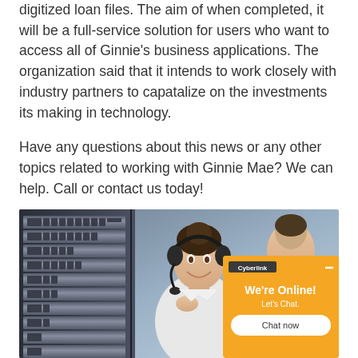digitized loan files. The aim of when completed, it will be a full-service solution for users who want to access all of Ginnie's business applications. The organization said that it intends to work closely with industry partners to capatalize on the investments its making in technology.
Have any questions about this news or any other topics related to working with Ginnie Mae? We can help. Call or contact us today!
[Figure (photo): Photo of a data center server rack on the left, a woman wearing a headset (customer service representative) in the center, and a man in the background on the right. A Cyberlink chat widget overlay is shown in the bottom right corner with 'We're Online! Let's Chat.' text and a 'Chat now' button.]